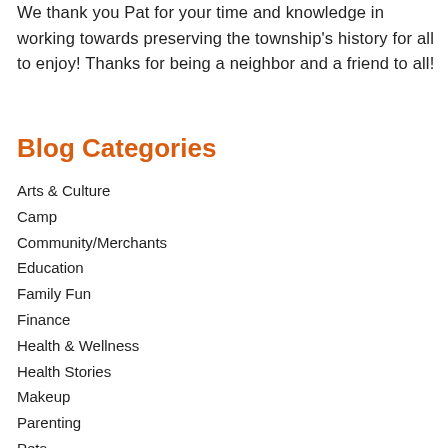We thank you Pat for your time and knowledge in working towards preserving the township's history for all to enjoy! Thanks for being a neighbor and a friend to all!
Blog Categories
Arts & Culture
Camp
Community/Merchants
Education
Family Fun
Finance
Health & Wellness
Health Stories
Makeup
Parenting
Pets
Play & Travel
Real Estate/Home Improvement